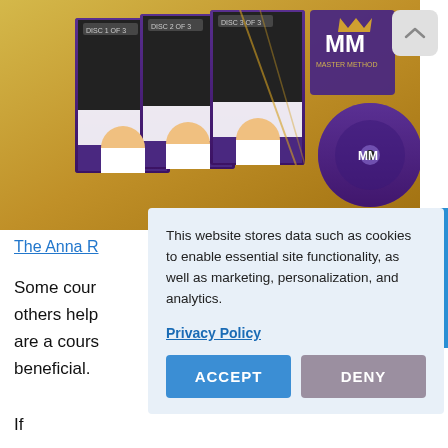[Figure (photo): Product image showing multiple chess course DVD/disc sets with purple covers featuring the MM (Master Method) logo, a woman instructor, and chess pieces on a golden background.]
The Anna R...
Some cour... others help... are a cours... beneficial.
This website stores data such as cookies to enable essential site functionality, as well as marketing, personalization, and analytics.
Privacy Policy
ACCEPT
DENY
If ...